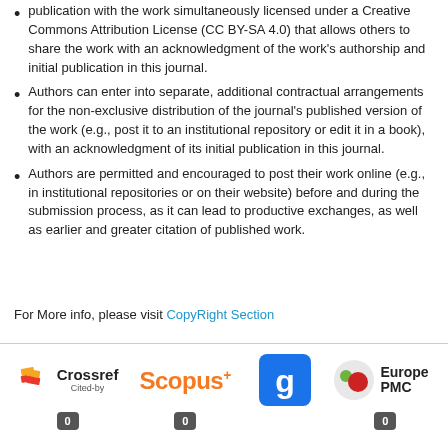publication with the work simultaneously licensed under a Creative Commons Attribution License (CC BY-SA 4.0) that allows others to share the work with an acknowledgment of the work's authorship and initial publication in this journal.
Authors can enter into separate, additional contractual arrangements for the non-exclusive distribution of the journal's published version of the work (e.g., post it to an institutional repository or edit it in a book), with an acknowledgment of its initial publication in this journal.
Authors are permitted and encouraged to post their work online (e.g., in institutional repositories or on their website) before and during the submission process, as it can lead to productive exchanges, as well as earlier and greater citation of published work.
For More info, please visit CopyRight Section
[Figure (logo): Logos of academic indexing services: Crossref Cited-by, Scopus, Google Scholar (g icon), Europe PMC, each with a badge showing 0]